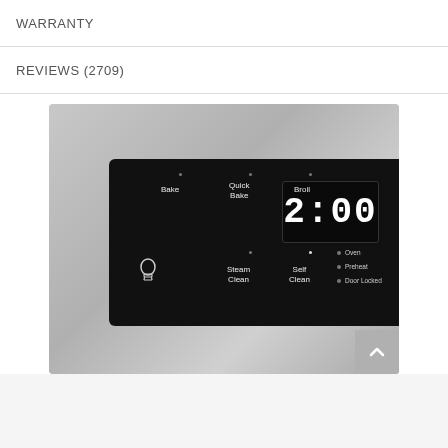WARRANTY
REVIEWS (2709)
[Figure (photo): Close-up photograph of an oven control panel showing Bake, Quick Bake, Broil, Steam Clean, Self Clean buttons, a light bulb icon, status indicators for Oven, Preheat, and Door Locked, and a digital clock display reading 2:00. The panel is black set in a stainless steel frame.]